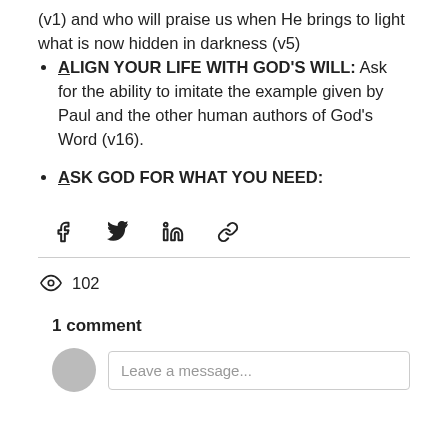(v1) and who will praise us when He brings to light what is now hidden in darkness (v5)
ALIGN YOUR LIFE WITH GOD'S WILL: Ask for the ability to imitate the example given by Paul and the other human authors of God's Word (v16).
ASK GOD FOR WHAT YOU NEED:
[Figure (infographic): Social share icons: Facebook (f), Twitter (bird), LinkedIn (in), and a link/chain icon]
102
1 comment
Leave a message...